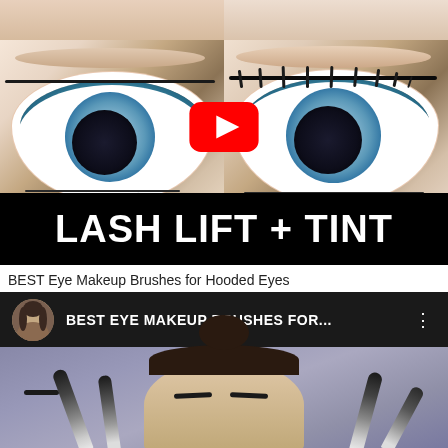[Figure (screenshot): YouTube video thumbnail for Lash Lift + Tint tutorial showing before and after eyes side by side with YouTube play button overlay and bold white text 'LASH LIFT + TINT' on black bar]
BEST Eye Makeup Brushes for Hooded Eyes
[Figure (screenshot): YouTube video card for 'BEST EYE MAKEUP BRUSHES FOR...' showing channel avatar, video title in header, and thumbnail of woman with makeup brushes fanned around her head]